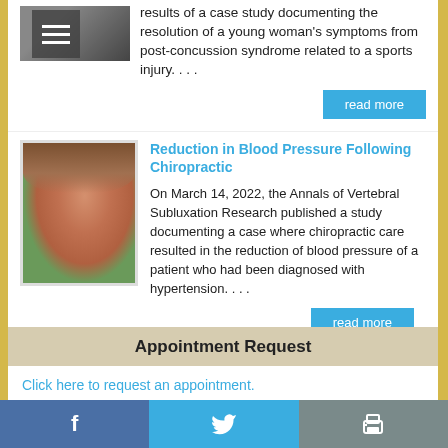results of a case study documenting the resolution of a young woman's symptoms from post-concussion syndrome related to a sports injury. . . .
read more
Reduction in Blood Pressure Following Chiropractic
[Figure (photo): Portrait photo of a middle-aged woman with brown hair, smiling, against a green background]
On March 14, 2022, the Annals of Vertebral Subluxation Research published a study documenting a case where chiropractic care resulted in the reduction of blood pressure of a patient who had been diagnosed with hypertension. . . .
read more
Appointment Request
Click here to request an appointment.